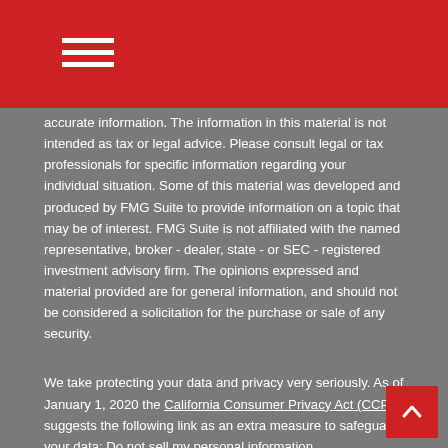Navigation menu icon (hamburger)
accurate information. The information in this material is not intended as tax or legal advice. Please consult legal or tax professionals for specific information regarding your individual situation. Some of this material was developed and produced by FMG Suite to provide information on a topic that may be of interest. FMG Suite is not affiliated with the named representative, broker - dealer, state - or SEC - registered investment advisory firm. The opinions expressed and material provided are for general information, and should not be considered a solicitation for the purchase or sale of any security.
We take protecting your data and privacy very seriously. As of January 1, 2020 the California Consumer Privacy Act (CCPA) suggests the following link as an extra measure to safeguard your data: Do not sell my personal information.
Copyright 2022 FMG Suite.
Securities and advisory services offered through SagePoint Financial, Inc. member FINRA/SIPC. Insurance services offered